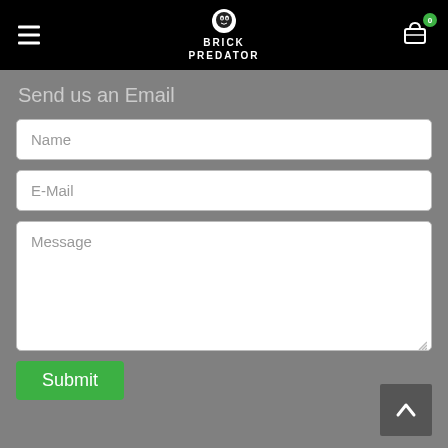BRICK PREDATOR
Send us an Email
Name
E-Mail
Message
Submit